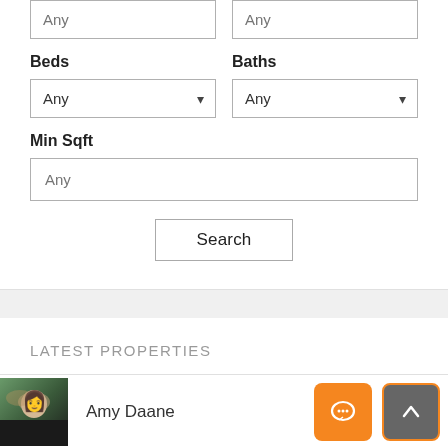Any (price from input)
Any (price to input)
Beds
Baths
Any (beds dropdown)
Any (baths dropdown)
Min Sqft
Any (min sqft input)
Search
LATEST PROPERTIES
Amy Daane